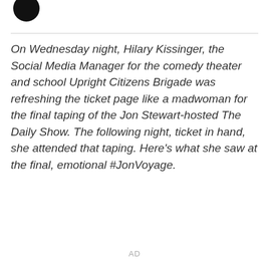[Figure (photo): Partial avatar/profile image - dark circular icon, partially visible at top left]
On Wednesday night, Hilary Kissinger, the Social Media Manager for the comedy theater and school Upright Citizens Brigade was refreshing the ticket page like a madwoman for the final taping of the Jon Stewart-hosted The Daily Show. The following night, ticket in hand, she attended that taping. Here’s what she saw at the final, emotional #JonVoyage.
AD